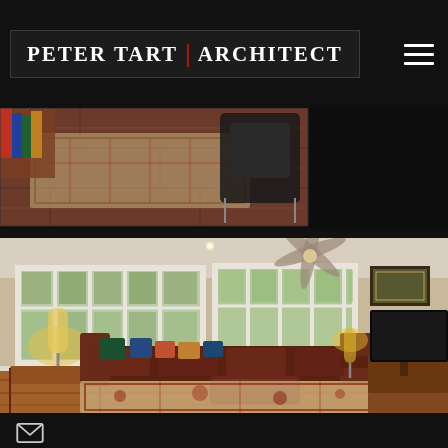Peter Tart | Architect
[Figure (photo): Close-up photo of a hardwood floor with an oriental rug, desk with a chair — partial view of an interior room]
[Figure (photo): Interior living room with large windows, leather L-shaped sectional sofa with colorful pillows, ceiling fan with light, oriental rug on hardwood floor, TV on wooden media console, framed art on walls, floor lamp]
Email contact icon